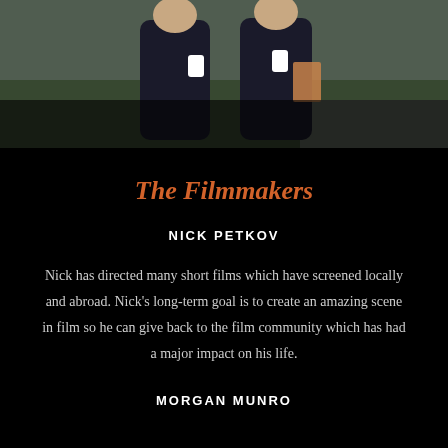[Figure (photo): Two people standing outdoors holding coffee cups, wearing dark jackets, with green grass and a walkway visible in the background.]
The Filmmakers
NICK PETKOV
Nick has directed many short films which have screened locally and abroad. Nick's long-term goal is to create an amazing scene in film so he can give back to the film community which has had a major impact on his life.
MORGAN MUNRO